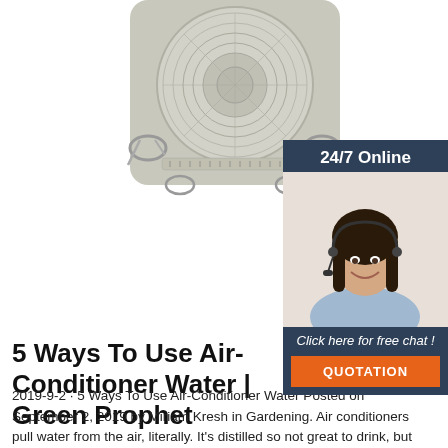[Figure (photo): A circular mechanical timer or dial device, gray/beige colored with metal clips, photographed from above against a white background.]
[Figure (photo): Sidebar advertisement panel showing a woman with headset smiling (customer service representative), with '24/7 Online' header, 'Click here for free chat!' text, and an orange 'QUOTATION' button.]
5 Ways To Use Air-Conditioner Water | Green Prophet
2019-9-2  ·  5 Ways To Use Air-Conditioner Water Posted on September 2, 2019 by Miriam Kresh in Gardening. Air conditioners pull water from the air, literally. It's distilled so not great to drink, but useful in other ways. If you run your air conditioner, you have a source of water. Considered grey water, the condensation dripping from the a/c drain hose ...